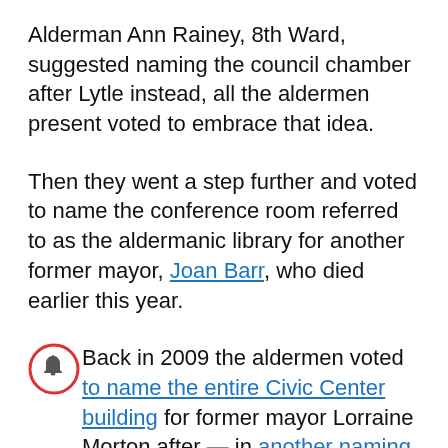Alderman Ann Rainey, 8th Ward, suggested naming the council chamber after Lytle instead, all the aldermen present voted to embrace that idea.
Then they went a step further and voted to name the conference room referred to as the aldermanic library for another former mayor, Joan Barr, who died earlier this year.
Back in 2009 the aldermen voted to name the entire Civic Center building for former mayor Lorraine Morton after — in another naming controversy — the District 65 school board dropped plans to rename Haven School, where